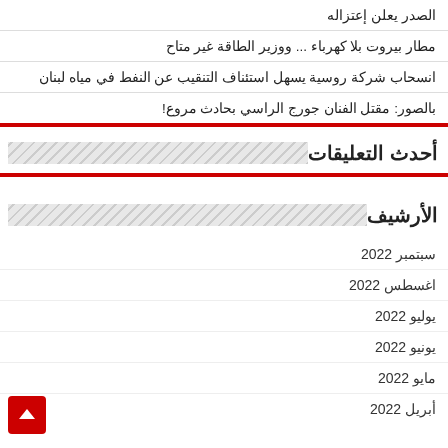الصدر يعلن إعتزاله
مطار بيروت بلا كهرباء ... ووزير الطاقة غير متاح
انسحاب شركة روسية يسهل استئناف التنقيب عن النفط في مياه لبنان
بالصور: مقتل الفنان جورج الراسي بحادث مروع!
أحدث التعليقات
الأرشيف
سبتمبر 2022
اغسطس 2022
يوليو 2022
يونيو 2022
مايو 2022
أبريل 2022